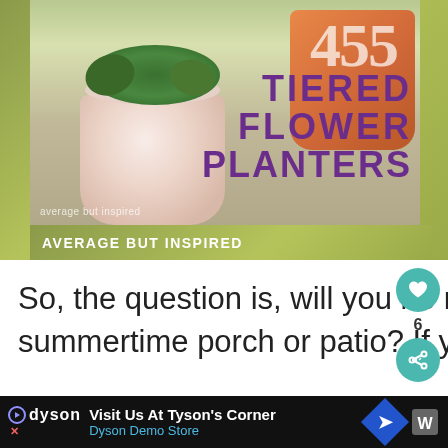[Figure (photo): Photo of tiered flower planters on a porch step with purple flowers and greenery. Two terracotta pots, one painted pink/white and one orange with '455' written on it. Text overlay reads 'TIERED FLOWER PLANTERS' in bold purple letters. Watermark reads 'average but inspired'. Label bar below reads 'AVERAGE BUT INSPIRED'.]
So, the question is, will you be making these tiered planters for your summertime porch or patio?  If you might want to, I'd
[Figure (infographic): Social media action buttons: heart/save button (teal circle with heart icon), count '6', and share button (teal circle with share icon)]
Visit Us At Tyson's Corner Dyson Demo Store